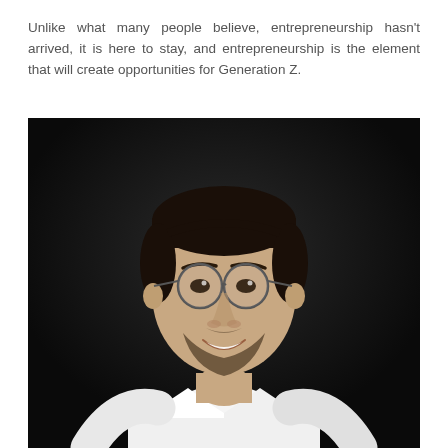Unlike what many people believe, entrepreneurship hasn't arrived, it is here to stay, and entrepreneurship is the element that will create opportunities for Generation Z.
[Figure (photo): Professional portrait photo of a young man with short dark hair, round glasses, and a beard, wearing a white dress shirt, smiling, against a dark background.]